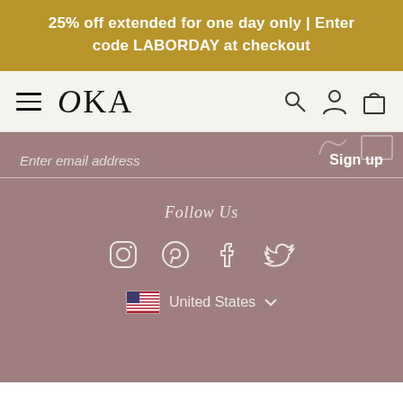25% off extended for one day only | Enter code LABORDAY at checkout
[Figure (screenshot): OKA website navigation bar with hamburger menu, OKA logo, search icon, account icon, and shopping bag icon on a light beige background]
Enter email address
Sign up
Follow Us
[Figure (infographic): Social media icons row: Instagram, Pinterest, Facebook, Twitter — white outline icons on mauve background]
United States